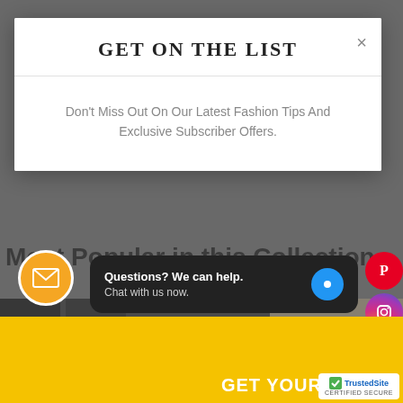[Figure (screenshot): Website screenshot showing a modal popup overlay on an e-commerce fashion website. Modal contains 'GET ON THE LIST' title and subscription text. Background shows product collection page with social media icons on the right side, yellow bottom bar with email icon, chat widget, and TrustedSite badge.]
GET ON THE LIST
Don't Miss Out On Our Latest Fashion Tips And Exclusive Subscriber Offers.
Most Popular in this Collection
Questions? We can help. Chat with us now.
GET YOUR
[Figure (logo): TrustedSite CERTIFIED SECURE badge]